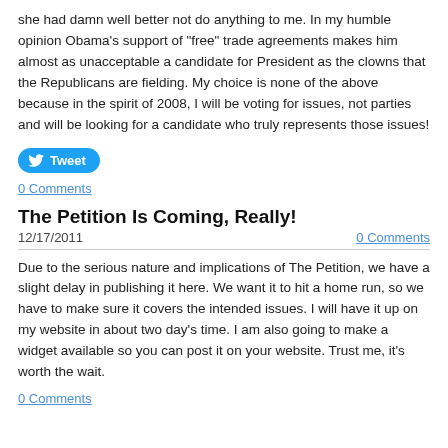she had damn well better not do anything to me.  In my humble opinion Obama's support of "free" trade agreements makes him almost as unacceptable a candidate for President as the clowns that the Republicans are fielding.  My choice is none of the above because in the spirit of 2008, I will be voting for issues, not parties and will be looking for a candidate who truly represents those issues!
[Figure (other): Twitter Tweet button (blue rounded button with bird icon and 'Tweet' text)]
0 Comments
The Petition Is Coming, Really!
12/17/2011
0 Comments
Due to the serious nature and implications of The Petition, we have a slight delay in publishing it here.  We want it to hit a home run, so we have to make sure it covers the intended issues.  I will have it up on my website in about two day's time. I am also going to make a widget available so you can post it on your website.  Trust me, it's worth the wait.
0 Comments